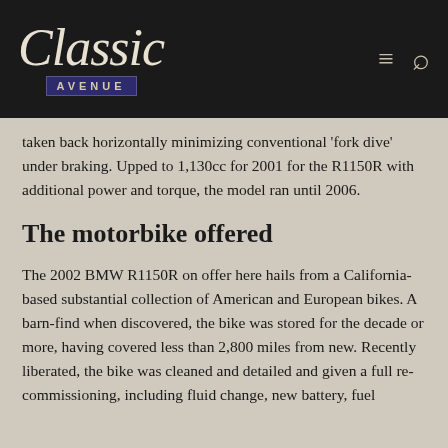Classic Avenue
taken back horizontally minimizing conventional 'fork dive' under braking. Upped to 1,130cc for 2001 for the R1150R with additional power and torque, the model ran until 2006.
The motorbike offered
The 2002 BMW R1150R on offer here hails from a California-based substantial collection of American and European bikes. A barn-find when discovered, the bike was stored for the decade or more, having covered less than 2,800 miles from new. Recently liberated, the bike was cleaned and detailed and given a full re-commissioning, including fluid change, new battery, fuel